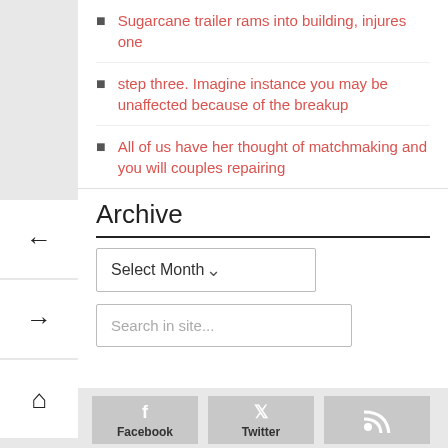Sugarcane trailer rams into building, injures one
step three. Imagine instance you may be unaffected because of the breakup
All of us have her thought of matchmaking and you will couples repairing
Archive
Select Month
Search in site...
Facebook
Twitter
[Figure (other): RSS feed icon button]